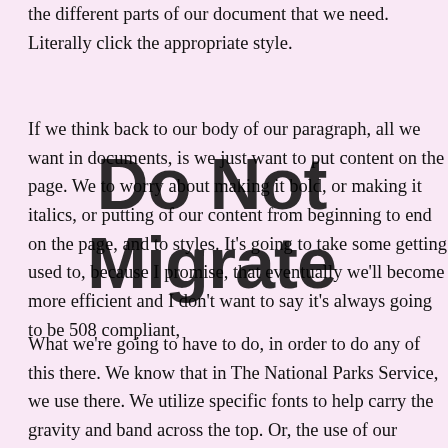the different parts of our document that we need. Literally click the appropriate style.
If we think back to our body of our paragraph, all we want in documents, is we just want to put content on the page. We to worry about making it bold, or making it italics, or putting of our content from beginning to end on the page, and to styles. It's going to take some getting used to, because I promise, that eventually we'll become more efficient and I don't want to say it's always going to be 508 compliant,
What we're going to have to do, in order to do any of this there. We know that in The National Parks Service, we use there. We utilize specific fonts to help carry the gravity and band across the top. Or, the use of our arrowhead. All of Service product. In order to do that, it's really going to be
[Figure (other): Watermark overlay text reading 'Do Not Migrate' in large bold black letters]